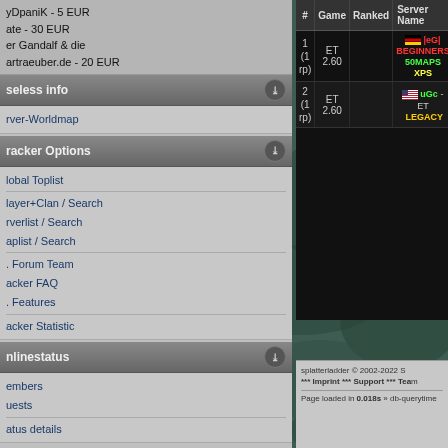yDpaniK - 5 EUR
ate - 30 EUR
er Gandalf & die
artraeuber.de - 20 EUR
seless info
rver-Worldmap
racker Options
lobal Toplist
layer+Clan / Search
rverlist / Search
aplist / Search
. Forum Team
acker FAQ
. Features
acker Statistic
nlinestatus
embers
uests
atus details
| # | Game | Ranked | Server Name |
| --- | --- | --- | --- |
| 1 (1 rp) | ET 2.60 |  | |eG| BEGINNERS 50MAPS XPS |
| 2 (1 rp) | ET 2.60 |  | uGc - ET  LEGACY |
splatterladder © 2002-2022 S
*** Imprint *** Support *** Team
Page loaded in 0.018s » db-querytime